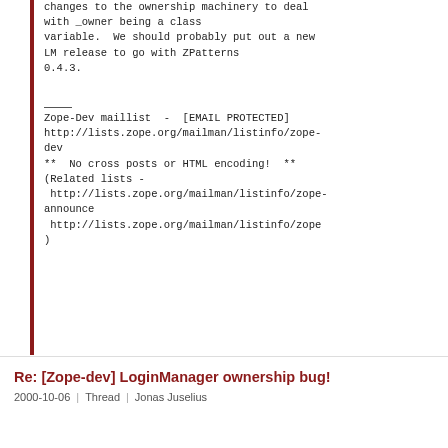changes to the ownership machinery to deal
with _owner being a class
variable.  We should probably put out a new
LM release to go with ZPatterns
0.4.3.
____
Zope-Dev maillist  -  [EMAIL PROTECTED]
http://lists.zope.org/mailman/listinfo/zope-dev
**  No cross posts or HTML encoding!  **
(Related lists -
 http://lists.zope.org/mailman/listinfo/zope-announce
 http://lists.zope.org/mailman/listinfo/zope
)
Re: [Zope-dev] LoginManager ownership bug!
2000-10-06  |  Thread  |  Jonas Juselius